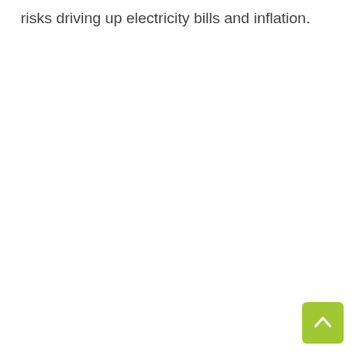risks driving up electricity bills and inflation.
[Figure (other): Back to top button — a green rounded square with an upward-pointing chevron arrow icon]